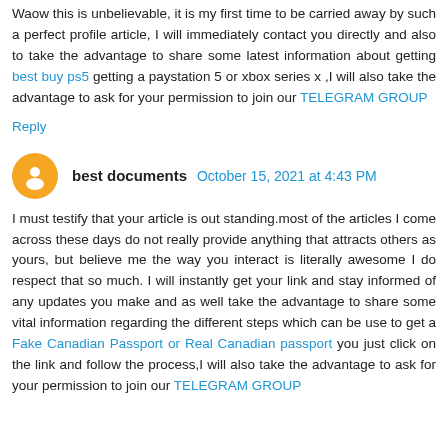Waow this is unbelievable, it is my first time to be carried away by such a perfect profile article, I will immediately contact you directly and also to take the advantage to share some latest information about getting best buy ps5 getting a paystation 5 or xbox series x ,I will also take the advantage to ask for your permission to join our TELEGRAM GROUP
Reply
best documents  October 15, 2021 at 4:43 PM
I must testify that your article is out standing.most of the articles I come across these days do not really provide anything that attracts others as yours, but believe me the way you interact is literally awesome I do respect that so much. I will instantly get your link and stay informed of any updates you make and as well take the advantage to share some vital information regarding the different steps which can be use to get a Fake Canadian Passport or Real Canadian passport you just click on the link and follow the process,I will also take the advantage to ask for your permission to join our TELEGRAM GROUP